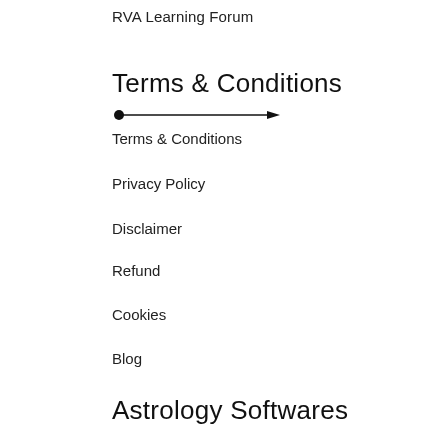RVA Learning Forum
Terms & Conditions
[Figure (other): Arrow line with bullet point and arrowhead pointing right]
Terms & Conditions
Privacy Policy
Disclaimer
Refund
Cookies
Blog
Astrology Softwares